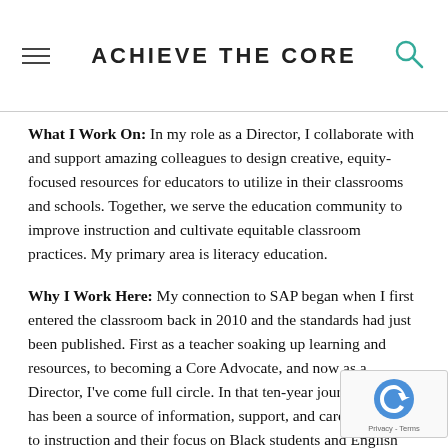ACHIEVE THE CORE
What I Work On: In my role as a Director, I collaborate with and support amazing colleagues to design creative, equity-focused resources for educators to utilize in their classrooms and schools. Together, we serve the education community to improve instruction and cultivate equitable classroom practices. My primary area is literacy education.
Why I Work Here: My connection to SAP began when I first entered the classroom back in 2010 and the standards had just been published. First as a teacher soaking up learning and resources, to becoming a Core Advocate, and now as a Director, I've come full circle. In that ten-year journey, SAP has been a source of information, support, and care as it relates to instruction and their focus on Black students and English Language Learners resonates with my